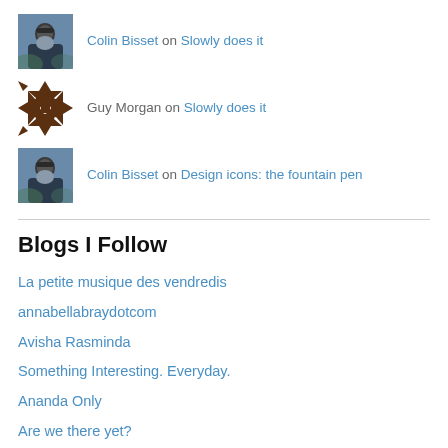Colin Bisset on Slowly does it
Guy Morgan on Slowly does it
Colin Bisset on Design icons: the fountain pen
Blogs I Follow
La petite musique des vendredis
annabellabraydotcom
Avisha Rasminda
Something Interesting. Everyday.
Ananda Only
Are we there yet?
Nick Alexander
compassandcamera.wordpress.com/